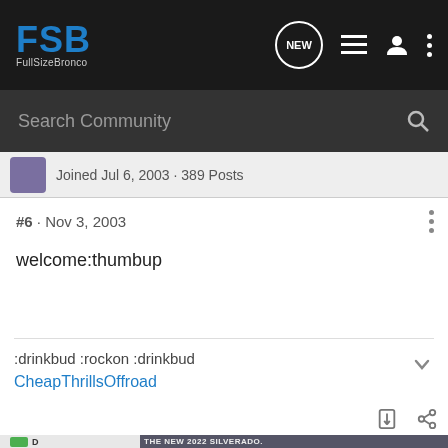FSB FullSizeBronco — navigation bar with NEW, list, user, menu icons and Search Community search bar
Joined Jul 6, 2003 · 389 Posts
#6 · Nov 3, 2003
welcome:thumbup
:drinkbud :rockon :drinkbud
CheapThrillsOffroad
[Figure (screenshot): Ad banner for The New 2022 Silverado by Chevrolet with Explore button]